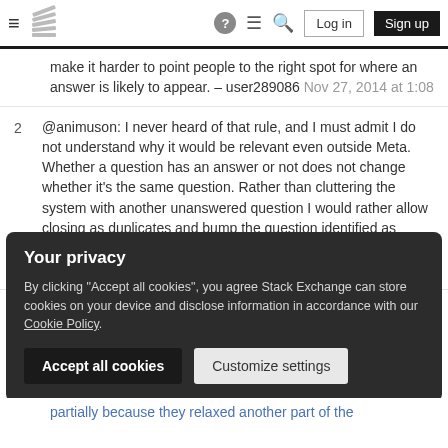Stack Exchange navigation bar with hamburger, logo, help, chat, search, Log in, Sign up
make it harder to point people to the right spot for where an answer is likely to appear. – user289086 Nov 27, 2014 at 1:08
2  @animuson: I never heard of that rule, and I must admit I do not understand why it would be relevant even outside Meta. Whether a question has an answer or not does not change whether it's the same question. Rather than cluttering the system with another unanswered question I would rather allow closing as duplicates and bump the question identified as "master" as a new question would be so it gains visibility again. – Matthieu M. Nov 27, 2014 at 8:15
Your privacy
By clicking "Accept all cookies", you agree Stack Exchange can store cookies on your device and disclose information in accordance with our Cookie Policy.
Accept all cookies   Customize settings
partially because they relaxed another part of the